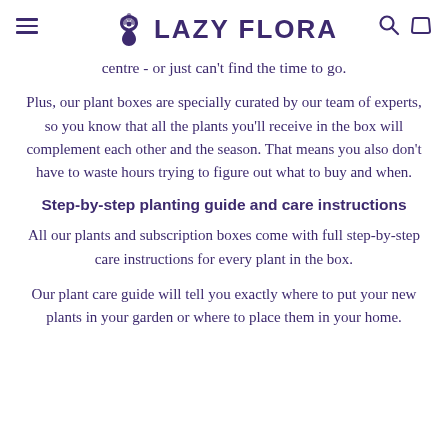LAZY FLORA
centre - or just can't find the time to go.
Plus, our plant boxes are specially curated by our team of experts, so you know that all the plants you'll receive in the box will complement each other and the season. That means you also don't have to waste hours trying to figure out what to buy and when.
Step-by-step planting guide and care instructions
All our plants and subscription boxes come with full step-by-step care instructions for every plant in the box.
Our plant care guide will tell you exactly where to put your new plants in your garden or where to place them in your home.